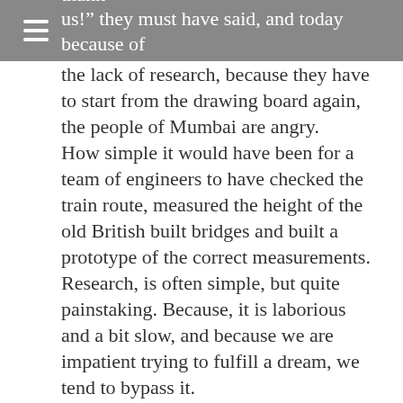train was built. “Mumbai commuters will thank us!” they must have said, and today because of
the lack of research, because they have to start from the drawing board again, the people of Mumbai are angry.
How simple it would have been for a team of engineers to have checked the train route, measured the height of the old British built bridges and built a prototype of the correct measurements.
Research, is often simple, but quite painstaking. Because, it is laborious and a bit slow, and because we are impatient trying to fulfill a dream, we tend to bypass it.
If any of you are developing a new business, are filled with excitement over a brand new dream. If any of you see yourself as the next Bill Gates, don’t build a train that won’t go under bridges, just do your research first..!
Would love to hear from you in the COMMENTS